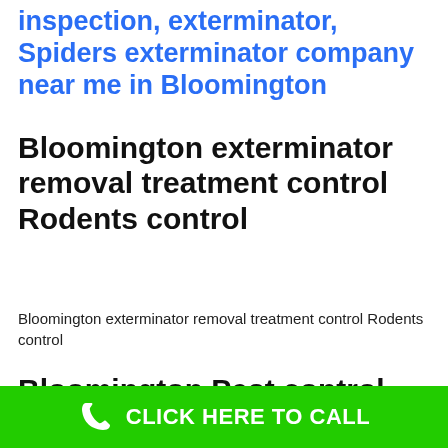inspection, exterminator, Spiders exterminator company near me in Bloomington
Bloomington exterminator removal treatment control Rodents control
Bloomington exterminator removal treatment control Rodents control
Bloomington Pest control,
[Figure (infographic): Green call-to-action bar at the bottom with a white phone icon and white text reading CLICK HERE TO CALL]